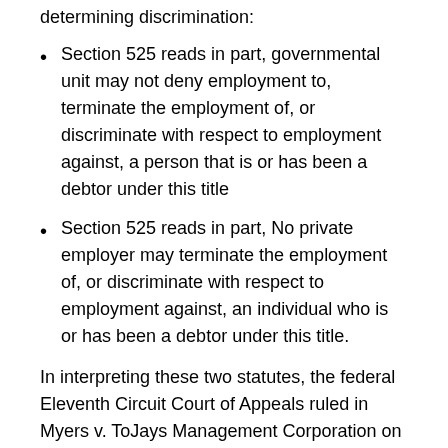determining discrimination:
Section 525 reads in part, governmental unit may not deny employment to, terminate the employment of, or discriminate with respect to employment against, a person that is or has been a debtor under this title
Section 525 reads in part, No private employer may terminate the employment of, or discriminate with respect to employment against, an individual who is or has been a debtor under this title.
In interpreting these two statutes, the federal Eleventh Circuit Court of Appeals ruled in Myers v. ToJays Management Corporation on May 17, 2011, that a private employer can refuse to hire a person based solely upon the fact that he or she filed for bankruptcy. This is the third federal appeals ruling of its kind, marking a clear trend for a precedence